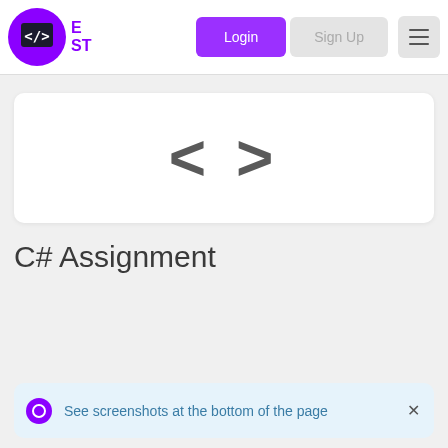[Figure (screenshot): Navigation bar with logo (code icon in purple circle with </> symbol), Login button (purple), Sign Up button (gray), and hamburger menu icon]
[Figure (illustration): White card with large gray angle bracket symbols < > representing code]
C# Assignment
See screenshots at the bottom of the page